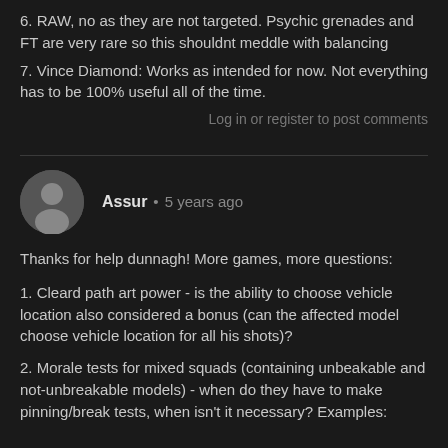6. RAW, no as they are not targeted. Psychic grenades and FT are very rare so this shouldnt meddle with balancing
7. Vince Diamond: Works as intended for now. Not everything has to be 100% useful all of the time.
Log in or register to post comments
Assur • 5 years ago
Thanks for help dunnagh! More games, more questions:
1. Cleard path art power - is the ability to choose vehicle location also considered a bonus (can the affected model choose vehicle location for all his shots)?
2. Morale tests for mixed squads (containing unbeakable and not-unbreakable models) - when do they have to make pinning/break tests, when isn't it necessary? Examples: